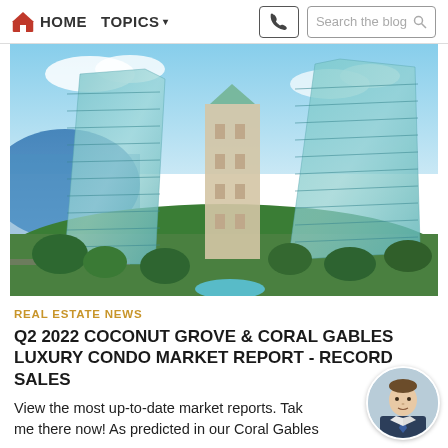HOME  TOPICS  Search the blog
[Figure (photo): Aerial view of two large glass luxury condo towers in Coconut Grove / Coral Gables, Miami, with blue water and marina visible on the left, tropical greenery below, and a pool area at the bottom.]
REAL ESTATE NEWS
Q2 2022 COCONUT GROVE & CORAL GABLES LUXURY CONDO MARKET REPORT - RECORD SALES
View the most up-to-date market reports. Take me there now! As predicted in our Coral Gables